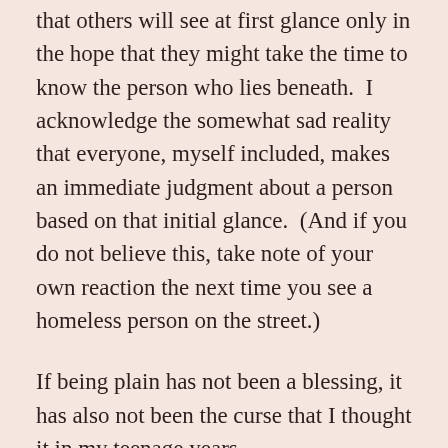that others will see at first glance only in the hope that they might take the time to know the person who lies beneath.  I acknowledge the somewhat sad reality that everyone, myself included, makes an immediate judgment about a person based on that initial glance.  (And if you do not believe this, take note of your own reaction the next time you see a homeless person on the street.)
If being plain has not been a blessing, it has also not been the curse that I thought it in my teenage years.
Yet I will always wonder what it might have felt like to be the woman who believed each young man she passed thought her lovely.